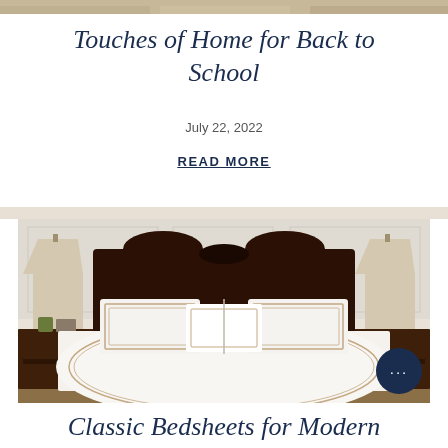[Figure (photo): Top strip image of home/lifestyle products]
Touches of Home for Back to School
July 22, 2022
READ MORE
[Figure (photo): Bedroom scene with white bedding, tan/taupe pinstripe border detail on duvet and shams, dark wood headboard, two table lamps with beige shades on matching dark wood nightstands]
Classic Bedsheets for Modern